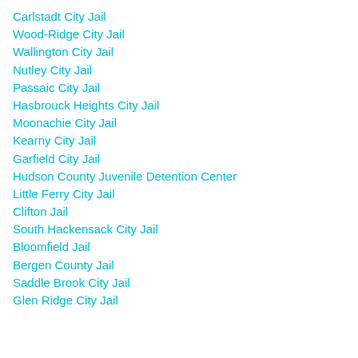Carlstadt City Jail
Wood-Ridge City Jail
Wallington City Jail
Nutley City Jail
Passaic City Jail
Hasbrouck Heights City Jail
Moonachie City Jail
Kearny City Jail
Garfield City Jail
Hudson County Juvenile Detention Center
Little Ferry City Jail
Clifton Jail
South Hackensack City Jail
Bloomfield Jail
Bergen County Jail
Saddle Brook City Jail
Glen Ridge City Jail